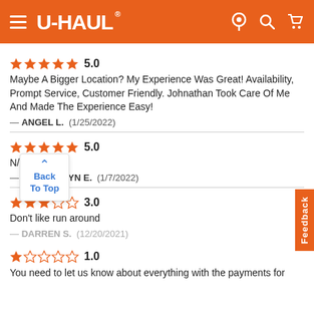U-HAUL
5.0
Maybe A Bigger Location? My Experience Was Great! Availability, Prompt Service, Customer Friendly. Johnathan Took Care Of Me And Made The Experience Easy!
— ANGEL L.  (1/25/2022)
5.0
N/A
— GWENDOLYN E.  (1/7/2022)
3.0
Don't like run around
— DARREN S.  (12/20/2021)
1.0
You need to let us know about everything with the payments for